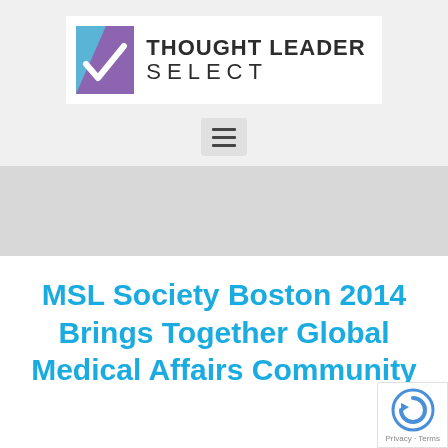[Figure (logo): Thought Leader Select logo with checkmark icon in blue/purple square and bold text THOUGHT LEADER SELECT]
[Figure (other): Hamburger menu button (three horizontal lines) on gray background]
[Figure (other): Gray banner/advertisement area]
MSL Society Boston 2014 Brings Together Global Medical Affairs Community
[Figure (other): reCAPTCHA badge with Privacy and Terms text]